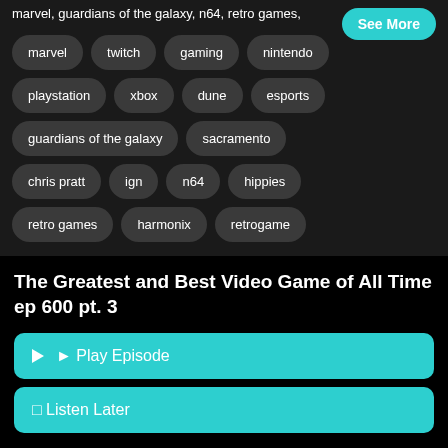marvel, guardians of the galaxy, n64, retro games,
See More
marvel
twitch
gaming
nintendo
playstation
xbox
dune
esports
guardians of the galaxy
sacramento
chris pratt
ign
n64
hippies
retro games
harmonix
retrogame
The Greatest and Best Video Game of All Time ep 600 pt. 3
Play Episode
Listen Later